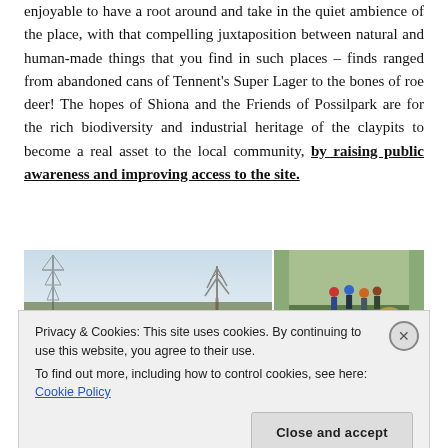enjoyable to have a root around and take in the quiet ambience of the place, with that compelling juxtaposition between natural and human-made things that you find in such places – finds ranged from abandoned cans of Tennent's Super Lager to the bones of roe deer! The hopes of Shiona and the Friends of Possilpark are for the rich biodiversity and industrial heritage of the claypits to become a real asset to the local community, by raising public awareness and improving access to the site.
[Figure (photo): Two side-by-side photographs: left shows a landscape with electricity pylons and bare trees under a blue sky; right shows a group of people outdoors in autumn/winter clothing among yellow shrubs.]
Privacy & Cookies: This site uses cookies. By continuing to use this website, you agree to their use.
To find out more, including how to control cookies, see here: Cookie Policy
Close and accept